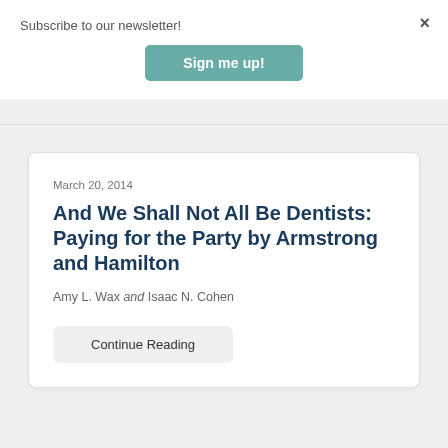Subscribe to our newsletter!
Sign me up!
×
March 20, 2014
And We Shall Not All Be Dentists: Paying for the Party by Armstrong and Hamilton
Amy L. Wax and Isaac N. Cohen
Continue Reading